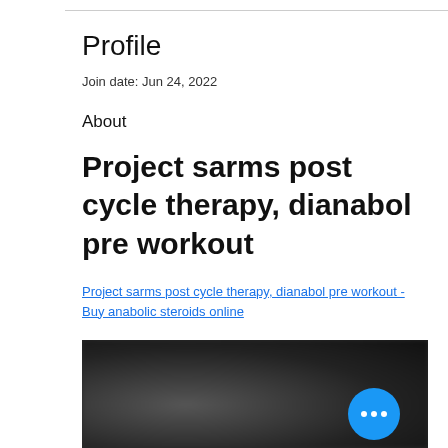Profile
Join date: Jun 24, 2022
About
Project sarms post cycle therapy, dianabol pre workout
Project sarms post cycle therapy, dianabol pre workout - Buy anabolic steroids online
[Figure (photo): Blurred dark background image with a blue circular floating action button (FAB) showing three white dots (ellipsis)]